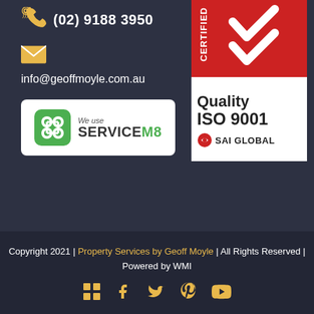(02) 9188 3950
info@geoffmoyle.com.au
[Figure (logo): We use ServiceM8 badge with green logo and white background]
[Figure (logo): SAI Global Certified Quality ISO 9001 badge with red top section showing checkmarks and white bottom section]
Copyright 2021 | Property Services by Geoff Moyle | All Rights Reserved | Powered by WMI
[Figure (infographic): Social media icons row: apps/grid, Facebook, Twitter, Pinterest, YouTube - all in gold/yellow color]